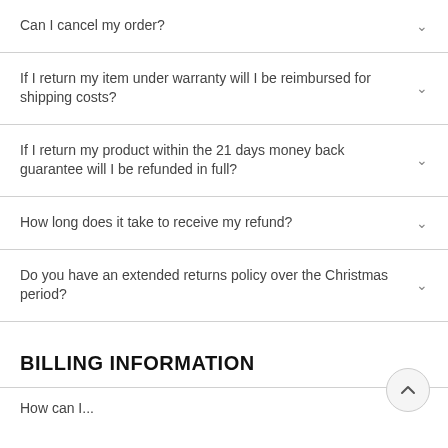Can I cancel my order?
If I return my item under warranty will I be reimbursed for shipping costs?
If I return my product within the 21 days money back guarantee will I be refunded in full?
How long does it take to receive my refund?
Do you have an extended returns policy over the Christmas period?
BILLING INFORMATION
How can I...